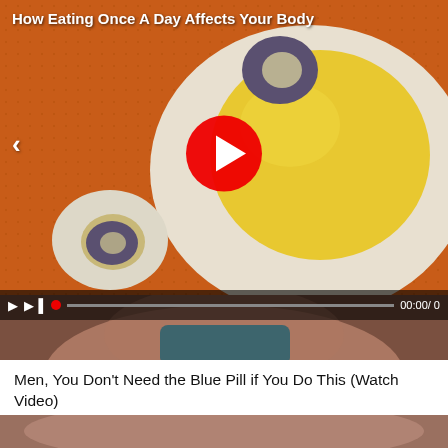[Figure (screenshot): Video player showing a close-up of a hard-boiled egg cut in half on an orange background, with a red play button in the center, a left navigation arrow, video controls bar at bottom showing 00:00/0, and title 'How Eating Once A Day Affects Your Body' in white text at top left.]
[Figure (photo): Partial thumbnail image of a person's face, dark tones, part of an advertisement.]
Men, You Don't Need the Blue Pill if You Do This (Watch Video)
NewsGoodTop
[Figure (photo): Bottom partial thumbnail, close-up of a person's face.]